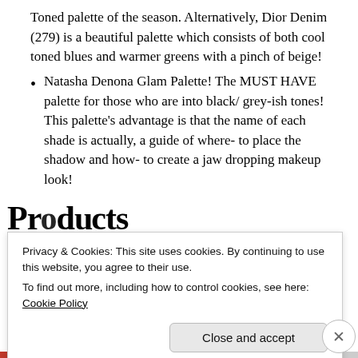Toned palette of the season. Alternatively, Dior Denim (279) is a beautiful palette which consists of both cool toned blues and warmer greens with a pinch of beige!
Natasha Denona Glam Palette! The MUST HAVE palette for those who are into black/ grey-ish tones! This palette’s advantage is that the name of each shade is actually, a guide of where- to place the shadow and how- to create a jaw dropping makeup look!
Product
Privacy & Cookies: This site uses cookies. By continuing to use this website, you agree to their use.
To find out more, including how to control cookies, see here: Cookie Policy
Close and accept